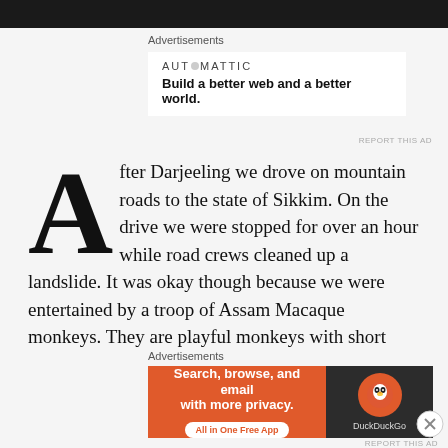[Figure (photo): Dark landscape or forest photo cropped at top of page]
Advertisements
[Figure (logo): Automattic advertisement: AUTOMATTIC wordmark, tagline 'Build a better web and a better world.']
REPORT THIS AD
After Darjeeling we drove on mountain roads to the state of Sikkim. On the drive we were stopped for over an hour while road crews cleaned up a landslide. It was okay though because we were entertained by a troop of Assam Macaque monkeys. They are playful monkeys with short tails. After Darjeeling, we had low expectations for Gangtok, the capital of Sikkim. We were pleasantly surprised that this capital city has a clean pedestrian mall
Advertisements
[Figure (screenshot): DuckDuckGo advertisement: 'Search, browse, and email with more privacy. All in One Free App' with DuckDuckGo logo on dark background]